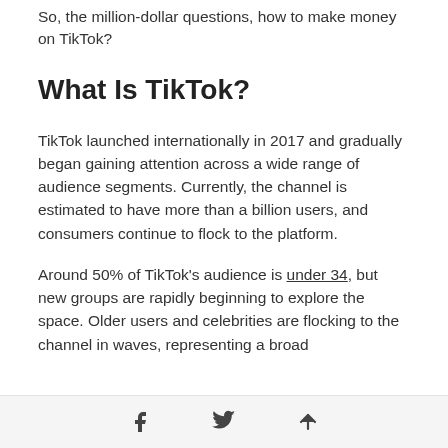So, the million-dollar questions, how to make money on TikTok?
What Is TikTok?
TikTok launched internationally in 2017 and gradually began gaining attention across a wide range of audience segments. Currently, the channel is estimated to have more than a billion users, and consumers continue to flock to the platform.
Around 50% of TikTok's audience is under 34, but new groups are rapidly beginning to explore the space. Older users and celebrities are flocking to the channel in waves, representing a broad
Share icons: Facebook, Twitter, Upload